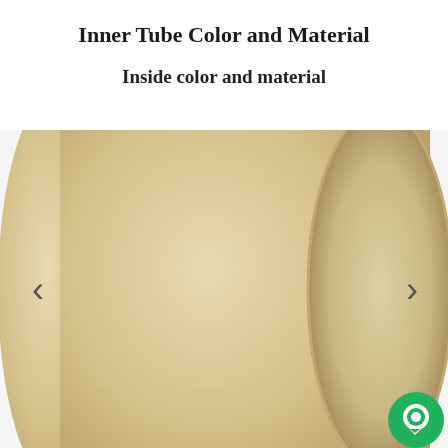Inner Tube Color and Material
Inside color and material
[Figure (photo): Close-up photo of a kraft paper cylindrical tube showing the end cap and curved surface, in beige/tan color, with navigation arrows on left and right sides and a green chat button in the bottom right corner.]